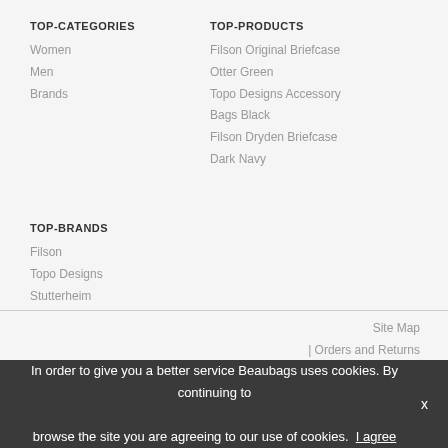TOP-CATEGORIES
Women
Men
Brands
TOP-PRODUCTS
Filson Original Briefcase
Otter Green
Topo Designs Accessory
Bags Black
Filson Dryden Briefcase
Dark Navy
TOP-BRANDS
Filson
Topo Designs
Stutterheim
Site Map | Orders and Returns | Contact Us
Copyright © 2010 - 2022 BeauBags - All Right Reserved | Emico Magento Lease
In order to give you a better service Beaubags uses cookies. By continuing to browse the site you are agreeing to our use of cookies. I agree ×